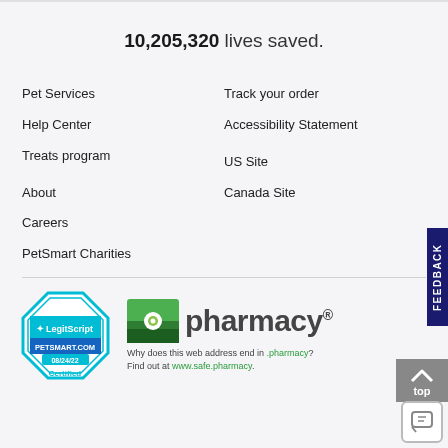10,205,320 lives saved.
Pet Services
Help Center
Treats program
About
Careers
PetSmart Charities
Track your order
Accessibility Statement
US Site
Canada Site
[Figure (logo): LegitScript Certified badge for PETSMART.COM dated 08/24/22]
[Figure (logo): .pharmacy logo with text: Why does this web address end in .pharmacy? Find out at www.safe.pharmacy.]